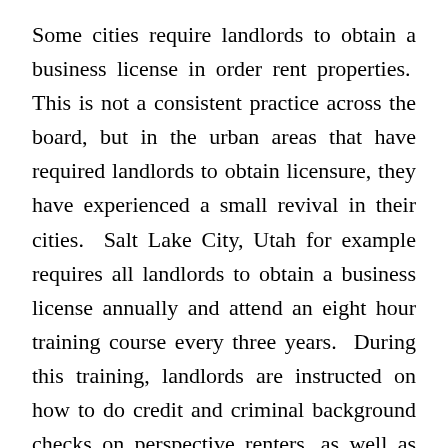Some cities require landlords to obtain a business license in order rent properties. This is not a consistent practice across the board, but in the urban areas that have required landlords to obtain licensure, they have experienced a small revival in their cities. Salt Lake City, Utah for example requires all landlords to obtain a business license annually and attend an eight hour training course every three years. During this training, landlords are instructed on how to do credit and criminal background checks on perspective renters, as well as learn ethical landlord practices. According to the Utah Apartment Association “the programs have helped reduce the number of so-called slumlords – landlords who shirk their responsibilities to tenants and the surrounding community.” All funds received for the landlord business license are then funneled back into the area by way of